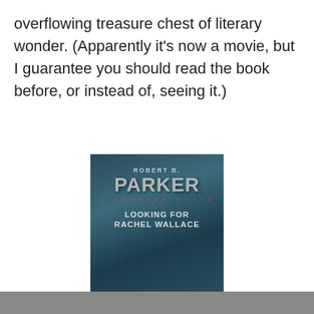overflowing treasure chest of literary wonder. (Apparently it's now a movie, but I guarantee you should read the book before, or instead of, seeing it.)
[Figure (illustration): Book cover of 'Looking for Rachel Wallace' by Robert B. Parker, a Spenser Mystery. Cover shows the author name and title on a dark teal/blue streaked background.]
Privacy & Cookies: This site uses cookies. By continuing to use this website, you agree to their use.
To find out more, including how to control cookies, see here: Cookie Policy
Close and accept